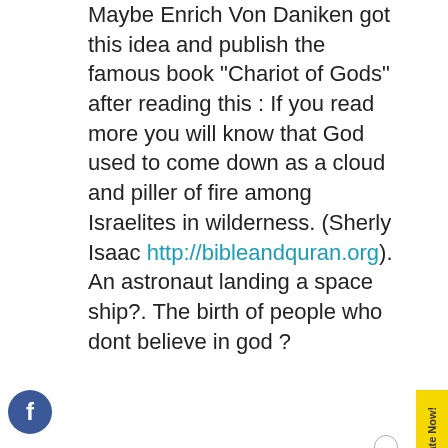Maybe Enrich Von Daniken got this idea and publish the famous book "Chariot of Gods" after reading this : If you read more you will know that God used to come down as a cloud and piller of fire among Israelites in wilderness. (Sherly Isaac http://bibleandquran.org). An astronaut landing a space ship?. The birth of people who dont believe in god ?
HALL FROM MALAYSIA said:
Satan is an open/clear enemy of man (surah yasin of Al-Quran). So any nation that assume the character of satan will surely be the enemy of Islam.